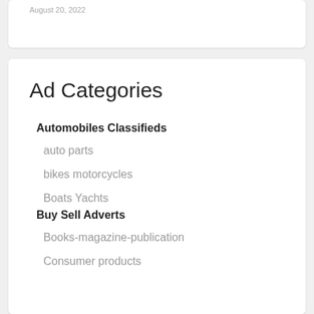August 20, 2022
Ad Categories
Automobiles Classifieds
auto parts
bikes motorcycles
Boats Yachts
Buy Sell Adverts
Books-magazine-publication
Consumer products